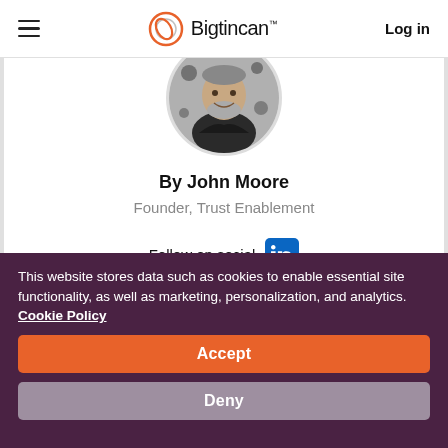Bigtincan  Log in
[Figure (photo): Circular profile photo of John Moore, a middle-aged man with gray beard, smiling, wearing dark clothing against a patterned background.]
By John Moore
Founder, Trust Enablement
Follow on social
This website stores data such as cookies to enable essential site functionality, as well as marketing, personalization, and analytics. Cookie Policy
Accept
Deny